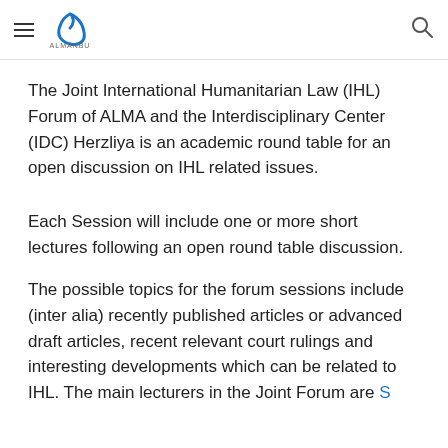ALMANBU [logo] [hamburger menu] [search icon]
The Joint International Humanitarian Law (IHL) Forum of ALMA and the Interdisciplinary Center (IDC) Herzliya is an academic round table for an open discussion on IHL related issues.
Each Session will include one or more short lectures following an open round table discussion.
The possible topics for the forum sessions include (inter alia) recently published articles or advanced draft articles, recent relevant court rulings and interesting developments which can be related to IHL. The main lecturers in the Joint Forum are